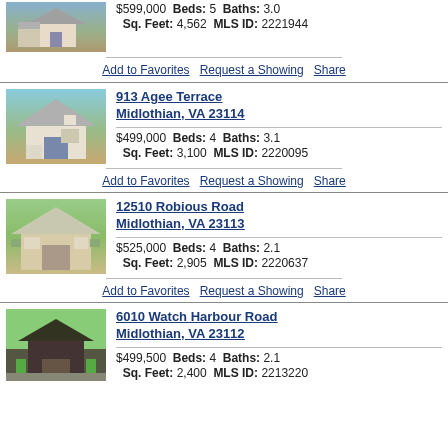$599,000 Beds: 5 Baths: 3.0 Sq. Feet: 4,562 MLS ID: 2221944
Add to Favorites | Request a Showing | Share
913 Agee Terrace Midlothian, VA 23114
$499,000 Beds: 4 Baths: 3.1 Sq. Feet: 3,100 MLS ID: 2220095
Add to Favorites | Request a Showing | Share
12510 Robious Road Midlothian, VA 23113
$525,000 Beds: 4 Baths: 2.1 Sq. Feet: 2,905 MLS ID: 2220637
Add to Favorites | Request a Showing | Share
6010 Watch Harbour Road Midlothian, VA 23112
$499,500 Beds: 4 Baths: 2.1 Sq. Feet: 2,400 MLS ID: 2213220